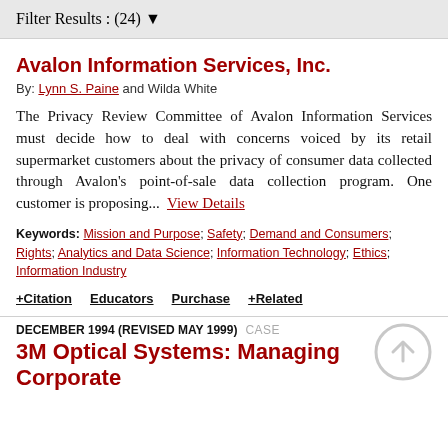Filter Results : (24) ▼
Avalon Information Services, Inc.
By: Lynn S. Paine and Wilda White
The Privacy Review Committee of Avalon Information Services must decide how to deal with concerns voiced by its retail supermarket customers about the privacy of consumer data collected through Avalon's point-of-sale data collection program. One customer is proposing... View Details
Keywords: Mission and Purpose; Safety; Demand and Consumers; Rights; Analytics and Data Science; Information Technology; Ethics; Information Industry
+ Citation   Educators   Purchase   + Related
DECEMBER 1994 (REVISED MAY 1999)  CASE
3M Optical Systems: Managing Corporate